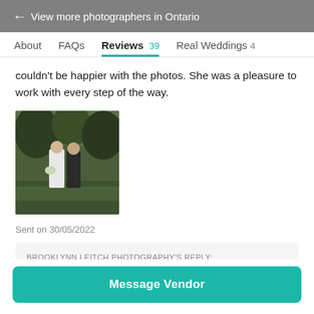← View more photographers in Ontario
About  FAQs  Reviews 39  Real Weddings 4
couldn't be happier with the photos. She was a pleasure to work with every step of the way.
[Figure (photo): Wedding couple photo thumbnail — bride in white dress and groom in dark suit standing outdoors with greenery in background]
Sent on 30/05/2022
BROOKLYNN LEITCH PHOTOGRAPHY'S REPLY:
Thanks so much! so grateful to have been included in you +
Message Vendor